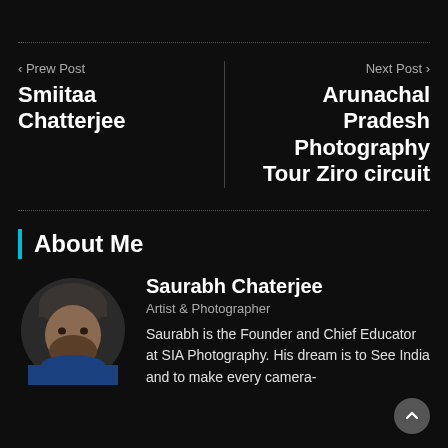‹ Prew Post
Smiitaa Chatterjee
Next Post ›
Arunachal Pradesh Photography Tour Ziro circuit
About Me
Saurabh Chaterjee
Artist & Photographer
Saurabh is the Founder and Chief Educator at SIA Photography. His dream is to See India and to make every camera-